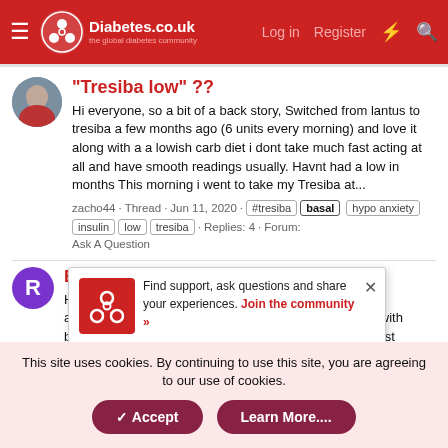Diabetes.co.uk — the global diabetes community | Log in | Register
"Tresiba low" ??
Hi everyone, so a bit of a back story, Switched from lantus to tresiba a few months ago (6 units every morning) and love it along with a a lowish carb diet i dont take much fast acting at all and have smooth readings usually. Havnt had a low in months This morning i went to take my Tresiba at...
zacho44 · Thread · Jun 11, 2020 · #tresiba basal hypo anxiety insulin low tresiba · Replies: 4 · Forum: Ask A Question
Basal and balance diet: how can I meet
Hi all, Since a few weeks Freestyle Libre 1 sensor and notice more highs after meals than I was aware of with blood glucose testing. I am searching now to find the best
Find support, ask questions and share your experiences. Join the community »
This site uses cookies. By continuing to use this site, you are agreeing to our use of cookies.